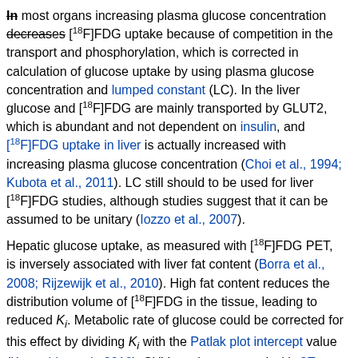In most organs increasing plasma glucose concentration decreases [18F]FDG uptake because of competition in the transport and phosphorylation, which is corrected in calculation of glucose uptake by using plasma glucose concentration and lumped constant (LC). In the liver glucose and [18F]FDG are mainly transported by GLUT2, which is abundant and not dependent on insulin, and [18F]FDG uptake in liver is actually increased with increasing plasma glucose concentration (Choi et al., 1994; Kubota et al., 2011). LC still should to be used for liver [18F]FDG studies, although studies suggest that it can be assumed to be unitary (Iozzo et al., 2007).
Hepatic glucose uptake, as measured with [18F]FDG PET, is inversely associated with liver fat content (Borra et al., 2008; Rijzewijk et al., 2010). High fat content reduces the distribution volume of [18F]FDG in the tissue, leading to reduced Ki. Metabolic rate of glucose could be corrected for this effect by dividing Ki with the Patlak plot intercept value (Keramida et al., 2016). SUV can be corrected with CT density (HU) (Keramida et al., 2014a, 2014b).